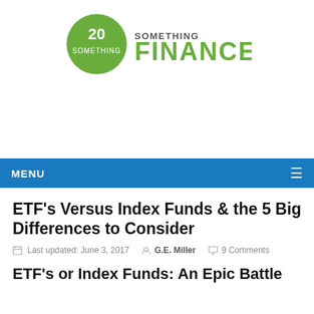[Figure (logo): 20 Something Finance logo — green circle with '20' text, followed by 'SOMETHING FINANCE' in green/dark text]
MENU
ETF's Versus Index Funds & the 5 Big Differences to Consider
Last updated: June 3, 2017   G.E. Miller   9 Comments
ETF's or Index Funds: An Epic Battle